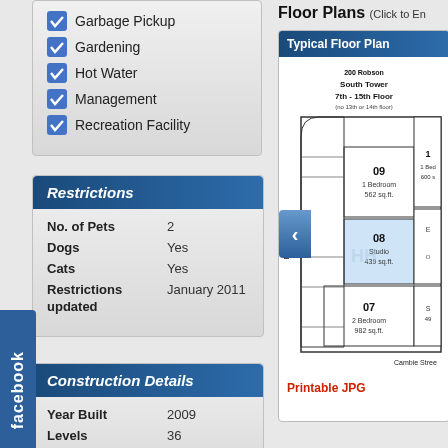Garbage Pickup
Gardening
Hot Water
Management
Recreation Facility
| Field | Value |
| --- | --- |
| No. of Pets | 2 |
| Dogs | Yes |
| Cats | Yes |
| Restrictions updated | January 2011 |
| Field | Value |
| --- | --- |
| Year Built | 2009 |
| Levels | 36 |
| Construction | Concrete |
Floor Plans (Click to En
Typical Floor Plan
[Figure (schematic): Typical floor plan for 200 Robson South Tower 7th-15th Floor (no 13th or 14th floor). Shows units 07 (2 Bedroom, 982 sq.ft.), 08 (Studio, 439 sq.ft.), 09 (1 Bedroom, 562 sq.ft.) and partial units on right side. Robson Street on left, Cambie Street at bottom.]
Printable JPG